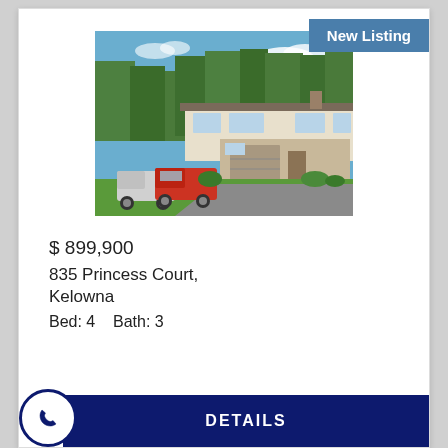New Listing
[Figure (photo): Exterior photo of a split-level residential home at 835 Princess Court, Kelowna. The house has a beige/cream exterior with a double garage, large driveway, green lawn, and trees in the background. Two pickup trucks are parked in the driveway. Clear blue sky with some clouds.]
$ 899,900
835 Princess Court,
Kelowna
Bed: 4    Bath: 3
DETAILS